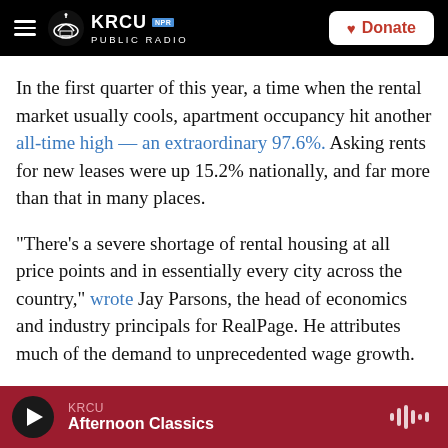KRCU NPR PUBLIC RADIO | Donate
In the first quarter of this year, a time when the rental market usually cools, apartment occupancy hit another all-time high — an extraordinary 97.6%. Asking rents for new leases were up 15.2% nationally, and far more than that in many places.
"There's a severe shortage of rental housing at all price points and in essentially every city across the country," wrote Jay Parsons, the head of economics and industry principals for RealPage. He attributes much of the demand to unprecedented wage growth.
KRCU | Afternoon Classics